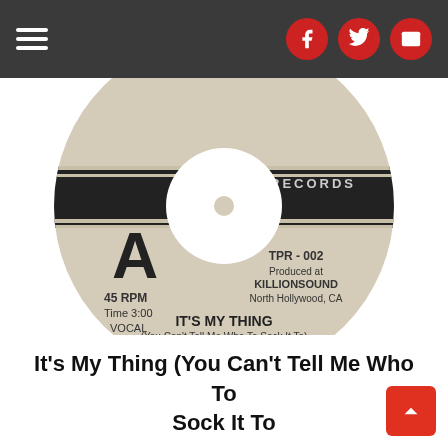Navigation bar with hamburger menu and social icons (Facebook, Twitter, Email)
[Figure (illustration): A vinyl record (45 RPM) with a cream/tan label. Large letter A on left side. Text: TPR-002, Produced at KILLIONSOUND, North Hollywood, CA. Center text: IT'S MY THING, (You Can't Tell Me Who To Sock It To), (J.Brown, M.Whitney). ORGONE featuring Adryon de León. © 2020 3 Palm Records. All Rights Reserved. 45 RPM, Time 3:00, VOCAL. Records logo at top.]
It's My Thing (You Can't Tell Me Who To Sock It To